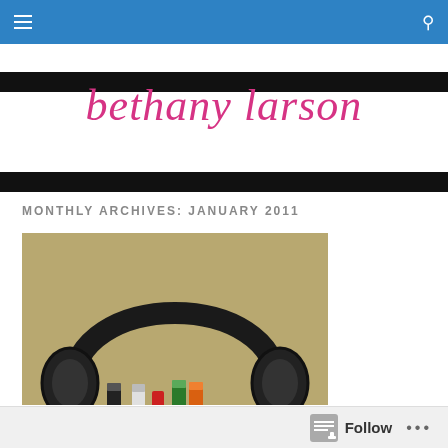bethany larson — navigation bar with menu and search icons
bethany larson
MONTHLY ARCHIVES: JANUARY 2011
[Figure (photo): Close-up photograph of black over-ear headphones resting on a surface with colored markers/pens visible at the bottom, against a tan/khaki background]
Follow